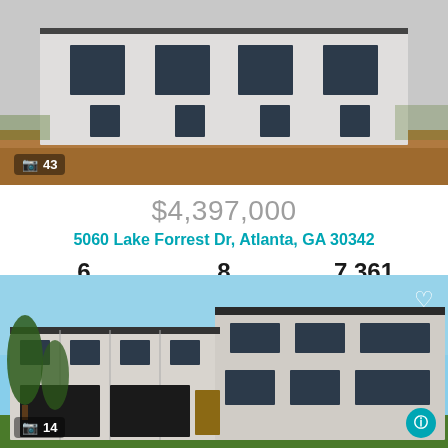[Figure (photo): Front exterior of a modern white stucco house under construction with large windows]
43
$4,397,000
5060 Lake Forrest Dr, Atlanta, GA 30342
6 Beds  8 Baths  7,361 SqFt
Listing provided courtesy of Atlanta Fine Homes Sotheby's International FMLS IDX
[Figure (photo): Rendered exterior of a large modern two-story home with white panel cladding, black windows, and dark garage doors]
14